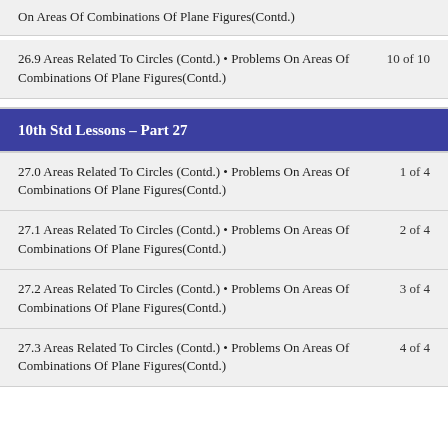On Areas Of Combinations Of Plane Figures(Contd.)
26.9 Areas Related To Circles (Contd.) • Problems On Areas Of Combinations Of Plane Figures(Contd.)  10 of 10
10th Std Lessons – Part 27
27.0 Areas Related To Circles (Contd.) • Problems On Areas Of Combinations Of Plane Figures(Contd.)  1 of 4
27.1 Areas Related To Circles (Contd.) • Problems On Areas Of Combinations Of Plane Figures(Contd.)  2 of 4
27.2 Areas Related To Circles (Contd.) • Problems On Areas Of Combinations Of Plane Figures(Contd.)  3 of 4
27.3 Areas Related To Circles (Contd.) • Problems On Areas Of Combinations Of Plane Figures(Contd.)  4 of 4